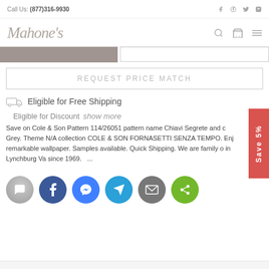Call Us: (877)316-9930
[Figure (logo): Mahone's logo in cursive/italic gray text]
REQUEST PRICE MATCH
Eligible for Free Shipping
Eligible for Discount   show more
Save on Cole & Son Pattern 114/26051 pattern name Chiavi Segrete and c Grey. Theme N/A collection COLE & SON FORNASETTI SENZA TEMPO. Enj remarkable wallpaper. Samples available. Quick Shipping. We are family o in Lynchburg Va since 1969.   ...
[Figure (infographic): Row of social share buttons: chat (gray), Facebook (dark blue), Messenger (blue), Telegram (light blue), email (gray), share (green)]